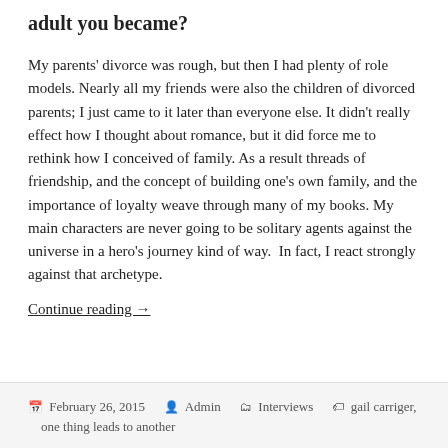adult you became?
My parents' divorce was rough, but then I had plenty of role models. Nearly all my friends were also the children of divorced parents; I just came to it later than everyone else. It didn't really effect how I thought about romance, but it did force me to rethink how I conceived of family. As a result threads of friendship, and the concept of building one's own family, and the importance of loyalty weave through many of my books. My main characters are never going to be solitary agents against the universe in a hero's journey kind of way.  In fact, I react strongly against that archetype. Continue reading →
February 26, 2015  Admin  Interviews  gail carriger, one thing leads to another